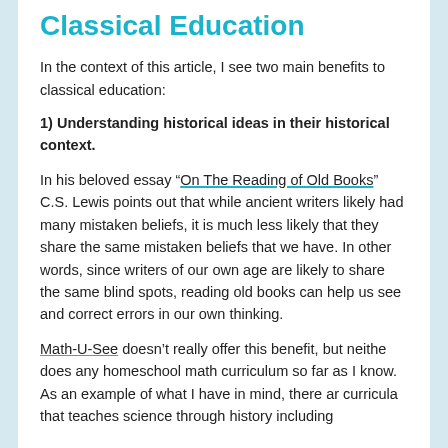Classical Education
In the context of this article, I see two main benefits to classical education:
1) Understanding historical ideas in their historical context.
In his beloved essay “On The Reading of Old Books” C.S. Lewis points out that while ancient writers likely had many mistaken beliefs, it is much less likely that they share the same mistaken beliefs that we have. In other words, since writers of our own age are likely to share the same blind spots, reading old books can help us see and correct errors in our own thinking.
Math-U-See doesn’t really offer this benefit, but neither does any homeschool math curriculum so far as I know. As an example of what I have in mind, there are curricula that teaches science through history including